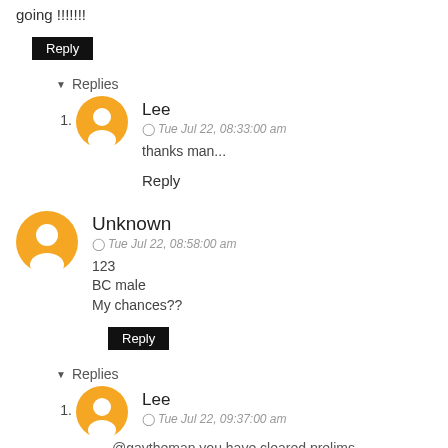going !!!!!!!
Reply
Replies
1. Lee
Tue Jul 22, 08:33:00 am
thanks man...
Reply
Unknown
Tue Jul 22, 08:58:00 am
123
BC male
My chances??
Reply
Replies
1. Lee
Tue Jul 22, 09:37:00 am
@gaytheman you have cleared prelims